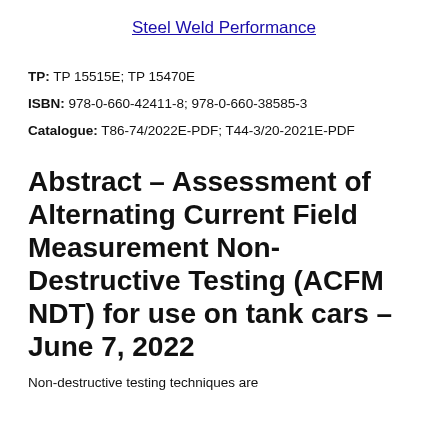Steel Weld Performance
TP: TP 15515E; TP 15470E
ISBN: 978-0-660-42411-8; 978-0-660-38585-3
Catalogue: T86-74/2022E-PDF; T44-3/20-2021E-PDF
Abstract – Assessment of Alternating Current Field Measurement Non-Destructive Testing (ACFM NDT) for use on tank cars – June 7, 2022
Non-destructive testing techniques are